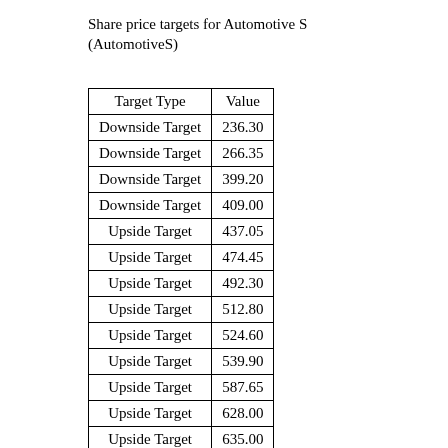Share price targets for Automotive S (AutomotiveS)
| Target Type | Value |
| --- | --- |
| Downside Target | 236.30 |
| Downside Target | 266.35 |
| Downside Target | 399.20 |
| Downside Target | 409.00 |
| Upside Target | 437.05 |
| Upside Target | 474.45 |
| Upside Target | 492.30 |
| Upside Target | 512.80 |
| Upside Target | 524.60 |
| Upside Target | 539.90 |
| Upside Target | 587.65 |
| Upside Target | 628.00 |
| Upside Target | 635.00 |
| Upside Target | 739.85 |
| Upside Target | 923.85 |